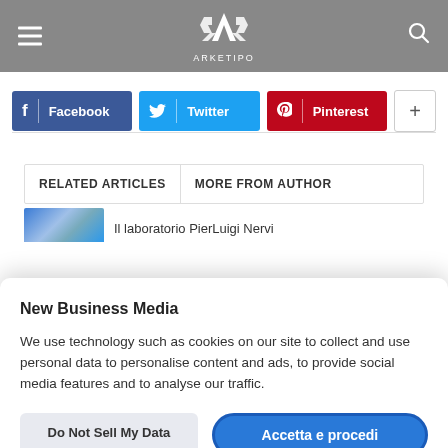ARKETIPO
[Figure (screenshot): Social sharing buttons: Facebook (blue), Twitter (cyan), Pinterest (red), and a plus button]
RELATED ARTICLES   MORE FROM AUTHOR
Il laboratorio PierLuigi Nervi
New Business Media

We use technology such as cookies on our site to collect and use personal data to personalise content and ads, to provide social media features and to analyse our traffic.
Do Not Sell My Data   Accetta e procedi
Powered by OniConsent